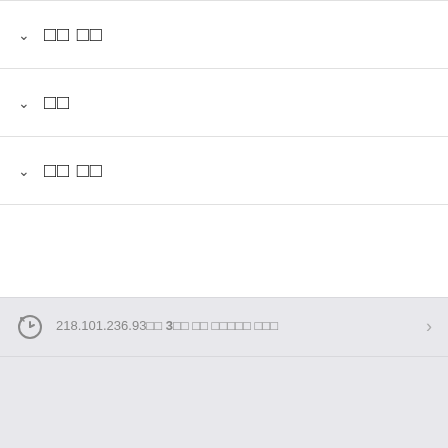□□ □□
□□
□□ □□
218.101.236.93□□ 3□□ □□ □□□□□ □□□